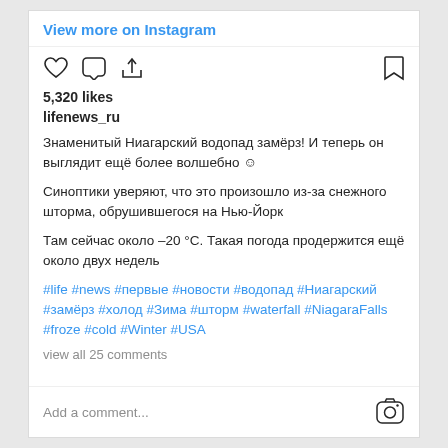View more on Instagram
[Figure (screenshot): Instagram action bar with heart (like), comment bubble, share icons on left and bookmark icon on right]
5,320 likes
lifenews_ru
Знаменитый Ниагарский водопад замёрз! И теперь он выглядит ещё более волшебно ☺
Синоптики уверяют, что это произошло из-за снежного шторма, обрушившегося на Нью-Йорк
Там сейчас около –20 °С. Такая погода продержится ещё около двух недель
#life #news #первые #новости #водопад #Ниагарский #замёрз #холод #Зима #шторм #waterfall #NiagaraFalls #froze #cold #Winter #USA
view all 25 comments
Add a comment...